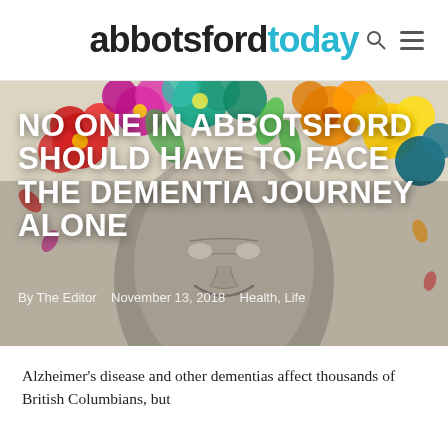abbotsfordtoday
[Figure (illustration): Stylized illustration of an elderly person smiling, with colorful flowers (red, orange, yellow, green, teal, purple) blooming from the top of the head against a warm beige background.]
NO ONE IN ABBOTSFORD SHOULD HAVE TO FACE THE DEMENTIA JOURNEY ALONE
By The Editor   November 13, 2018   Health, Life
Alzheimer's disease and other dementias affect thousands of British Columbians, but